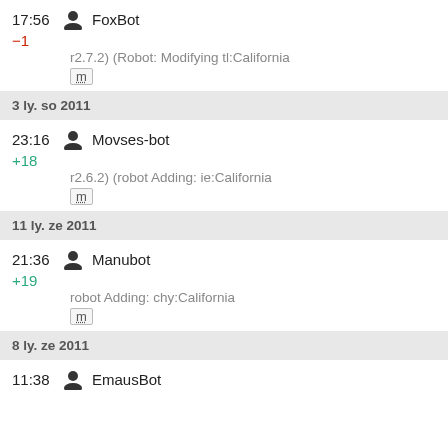17:56  FoxBot  -1  r2.7.2) (Robot: Modifying tl:California  m
3 ly. so 2011
23:16  Movses-bot  +18  r2.6.2) (robot Adding: ie:California  m
11 ly. ze 2011
21:36  Manubot  +19  robot Adding: chy:California  m
8 ly. ze 2011
11:38  EmausBot